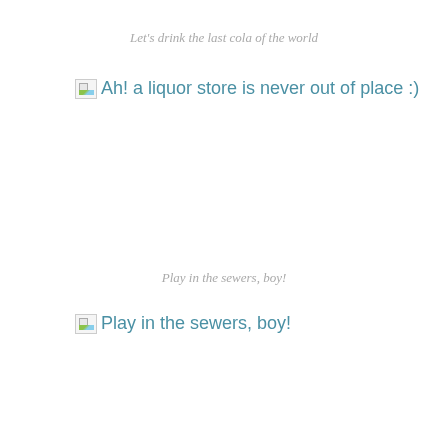Let's drink the last cola of the world
[Figure (other): Broken image placeholder with link text: Ah! a liquor store is never out of place :)]
Play in the sewers, boy!
[Figure (other): Broken image placeholder with link text: Play in the sewers, boy!]